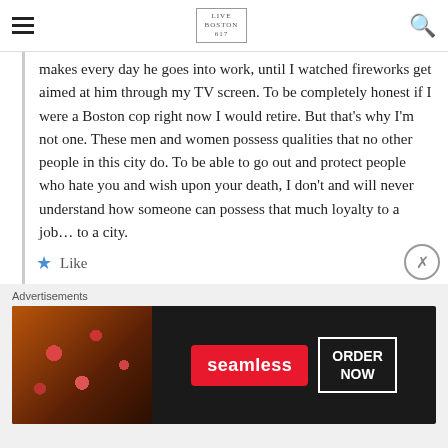LIVE BOSTON 617
makes every day he goes into work, until I watched fireworks get aimed at him through my TV screen. To be completely honest if I were a Boston cop right now I would retire. But that's why I'm not one. These men and women possess qualities that no other people in this city do. To be able to go out and protect people who hate you and wish upon your death, I don't and will never understand how someone can possess that much loyalty to a job... to a city.
Like
Advertisements
[Figure (other): Seamless food delivery advertisement banner showing pizza image on left, Seamless logo in red, and ORDER NOW button in white border on dark background]